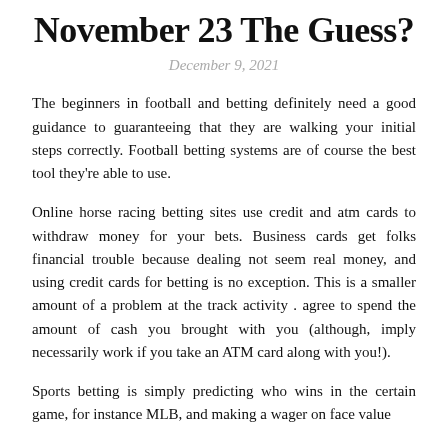November 23 The Guess?
December 9, 2021
The beginners in football and betting definitely need a good guidance to guaranteeing that they are walking your initial steps correctly. Football betting systems are of course the best tool they're able to use.
Online horse racing betting sites use credit and atm cards to withdraw money for your bets. Business cards get folks financial trouble because dealing not seem real money, and using credit cards for betting is no exception. This is a smaller amount of a problem at the track activity . agree to spend the amount of cash you brought with you (although, imply necessarily work if you take an ATM card along with you!).
Sports betting is simply predicting who wins in the certain game, for instance MLB, and making a wager on face value